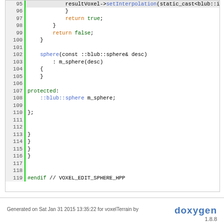[Figure (screenshot): Source code listing showing C++ code lines 95-119 for a sphere class with setInterpolation, return statements, protected member, and #endif directive]
Generated on Sat Jan 31 2015 13:35:22 for voxelTerrain by doxygen 1.8.8